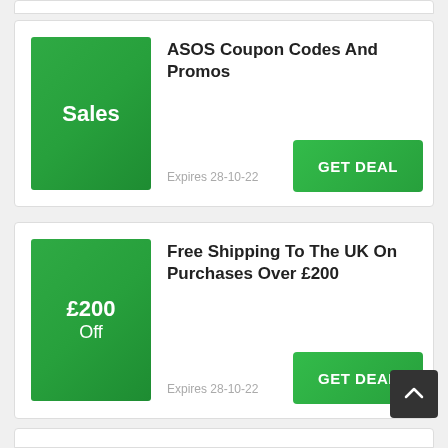[Figure (other): Green square badge with text 'Sales' for ASOS coupon card 1]
ASOS Coupon Codes And Promos
Expires 28-10-22
GET DEAL
[Figure (other): Green square badge with text '£200 Off' for free shipping card]
Free Shipping To The UK On Purchases Over £200
Expires 28-10-22
GET DEAL